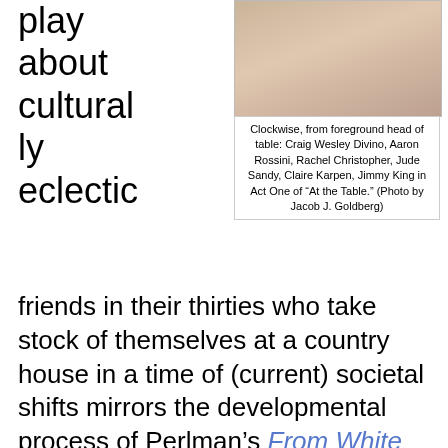play about culturally eclectic
[Figure (photo): Photo of cast members seated at a table during Act One of 'At the Table']
Clockwise, from foreground head of table: Craig Wesley Divino, Aaron Rossini, Rachel Christopher, Jude Sandy, Claire Karpen, Jimmy King in Act One of “At the Table.” (Photo by Jacob J. Goldberg)
friends in their thirties who take stock of themselves at a country house in a time of (current) societal shifts mirrors the developmental process of Perlman’s From White Plains, an earlier (acclaimed) production by Fault Line. Both plays were grown from the ground up, starting with an idea and a few pages. A full script later blossomed in workshops and rehearsals, in the company of artists who had come of age together in college.